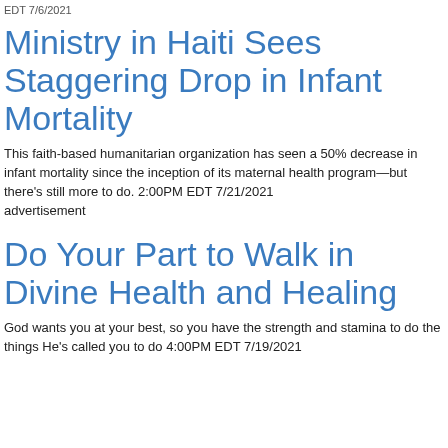EDT 7/6/2021
Ministry in Haiti Sees Staggering Drop in Infant Mortality
This faith-based humanitarian organization has seen a 50% decrease in infant mortality since the inception of its maternal health program—but there's still more to do. 2:00PM EDT 7/21/2021
advertisement
Do Your Part to Walk in Divine Health and Healing
God wants you at your best, so you have the strength and stamina to do the things He's called you to do 4:00PM EDT 7/19/2021